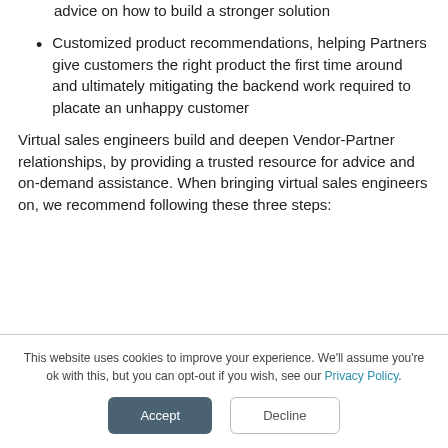advice on how to build a stronger solution
Customized product recommendations, helping Partners give customers the right product the first time around and ultimately mitigating the backend work required to placate an unhappy customer
Virtual sales engineers build and deepen Vendor-Partner relationships, by providing a trusted resource for advice and on-demand assistance. When bringing virtual sales engineers on, we recommend following these three steps:
This website uses cookies to improve your experience. We'll assume you're ok with this, but you can opt-out if you wish, see our Privacy Policy.